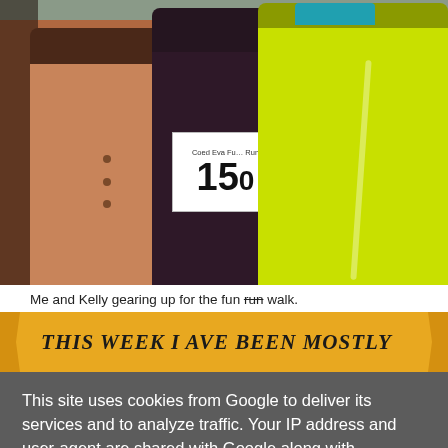[Figure (photo): Two women posing together at a fun run event. Left woman wears a tan/brown coat, middle person wears a dark floral outfit with race bib number 150 (Coed Eva Fun Run), right woman wears a neon yellow athletic jacket. Background appears to be a running track.]
Me and Kelly gearing up for the fun run walk.
This Week I ave Been Mostly
This site uses cookies from Google to deliver its services and to analyze traffic. Your IP address and user-agent are shared with Google along with performance and security metrics to ensure quality of service, generate usage statistics, and to detect and address abuse.
LEARN MORE    OK